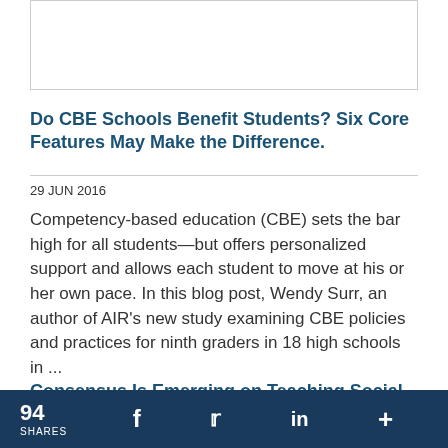[Figure (other): Image placeholder box at top of page]
Do CBE Schools Benefit Students? Six Core Features May Make the Difference.
29 JUN 2016
Competency-based education (CBE) sets the bar high for all students—but offers personalized support and allows each student to move at his or her own pace. In this blog post, Wendy Surr, an author of AIR's new study examining CBE policies and practices for ninth graders in 18 high schools in ...
Consensus Is Emerging on Teaching Social
94 SHARES  f  Twitter  in  +